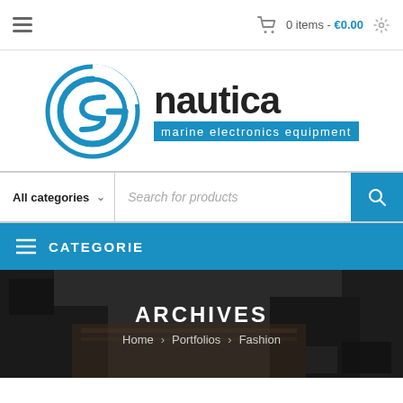0 items - €0.00
[Figure (logo): GS Nautica marine electronics equipment logo — circular blue GS emblem on left, 'nautica' in dark bold text on right, with 'marine electronics equipment' on a blue background banner below]
All categories   Search for products
CATEGORIE
ARCHIVES
Home › Portfolios › Fashion